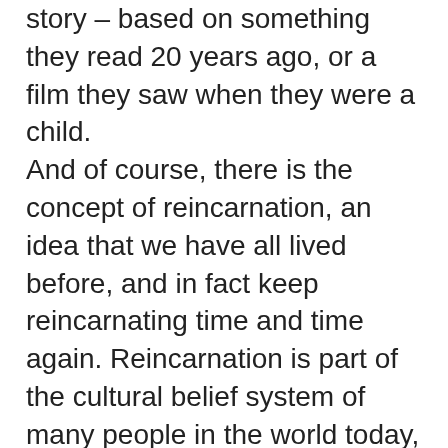story – based on something they read 20 years ago, or a film they saw when they were a child. And of course, there is the concept of reincarnation, an idea that we have all lived before, and in fact keep reincarnating time and time again. Reincarnation is part of the cultural belief system of many people in the world today, as well as part of many others chosen belief system. (see post of 7th March here). As a regression therapist, I have now worked with thousands of people in many different countries in the world and I safely say that I have seen all of the above playing out – in front of me when I have clients in regression. And I can say with great confidence, the definitive truth of whether the past life the client experiences is real is unimportant; what really matters is the reality that they are experiencing at that moment in time. For that reality is surfacing from